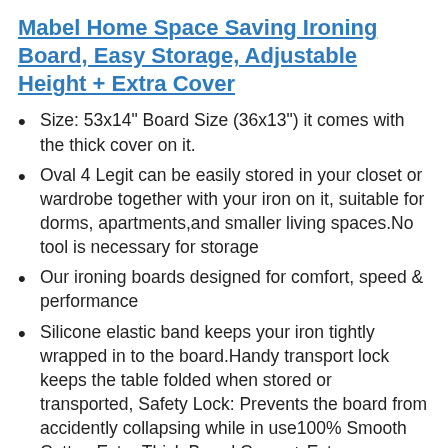Mabel Home Space Saving Ironing Board, Easy Storage, Adjustable Height + Extra Cover
Size: 53x14" Board Size (36x13") it comes with the thick cover on it.
Oval 4 Legit can be easily stored in your closet or wardrobe together with your iron on it, suitable for dorms, apartments,and smaller living spaces.No tool is necessary for storage
Our ironing boards designed for comfort, speed & performance
Silicone elastic band keeps your iron tightly wrapped in to the board.Handy transport lock keeps the table folded when stored or transported, Safety Lock: Prevents the board from accidently collapsing while in use100% Smooth Cotton Extra Thick Board Cover + Extra